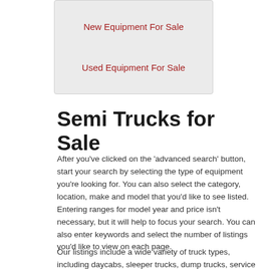New Equipment For Sale
Used Equipment For Sale
Semi Trucks for Sale
After you've clicked on the 'advanced search' button, start your search by selecting the type of equipment you're looking for. You can also select the category, location, make and model that you'd like to see listed. Entering ranges for model year and price isn't necessary, but it will help to focus your search. You can also enter keywords and select the number of listings you'd like to view on each page.
Our listings include a wide variety of truck types, including daycabs, sleeper trucks, dump trucks, service trucks, box trucks, crane trucks, tanker trucks, cab and chassis.